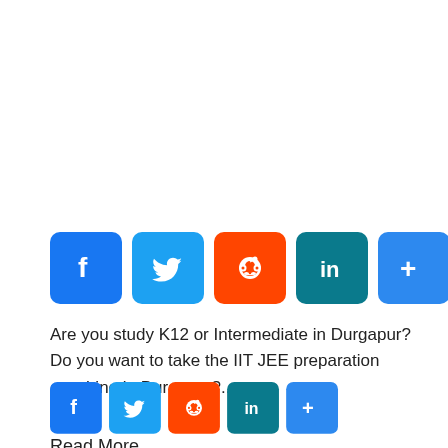[Figure (infographic): Row of social share buttons: Facebook (blue), Twitter (blue), Reddit (orange), LinkedIn (teal), More/Plus (blue)]
Are you study K12 or Intermediate in Durgapur?  Do you want to take the IIT JEE preparation coaching in Durgapur?...
[Figure (infographic): Row of social share buttons: Facebook (blue), Twitter (blue), Reddit (orange), LinkedIn (teal), More/Plus (blue)]
Read More